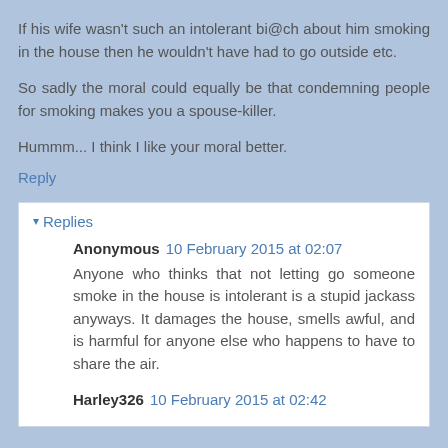If his wife wasn't such an intolerant bi@ch about him smoking in the house then he wouldn't have had to go outside etc.
So sadly the moral could equally be that condemning people for smoking makes you a spouse-killer.
Hummm... I think I like your moral better.
Reply
▾ Replies
Anonymous  10 February 2015 at 02:07
Anyone who thinks that not letting go someone smoke in the house is intolerant is a stupid jackass anyways. It damages the house, smells awful, and is harmful for anyone else who happens to have to share the air.
Harley326  10 February 2015 at 02:42